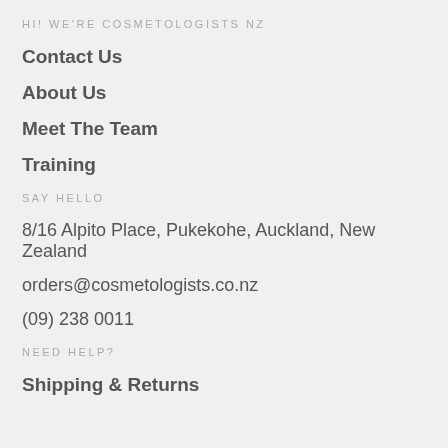HI! WE'RE COSMETOLOGISTS NZ
Contact Us
About Us
Meet The Team
Training
SAY HELLO
8/16 Alpito Place, Pukekohe, Auckland, New Zealand
orders@cosmetologists.co.nz
(09) 238 0011
NEED HELP?
Shipping & Returns